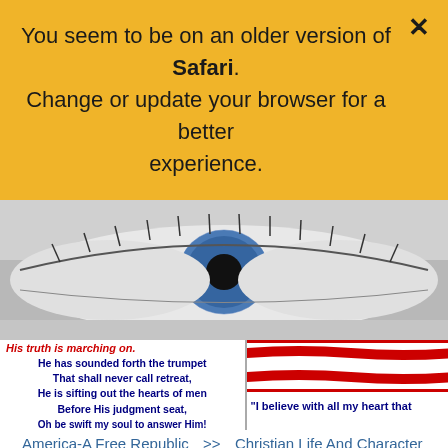You seem to be on an older version of Safari. Change or update your browser for a better experience.
[Figure (photo): Close-up black and white photo of a human eye with blue iris, showing detailed eyelashes and skin texture.]
[Figure (screenshot): Screenshot showing Battle Hymn verse text in bold blue on white background with red italic title 'His truth is marching on.' alongside an American flag image and partial quote 'I believe with all my heart that']
America-A Free Republic  >>  Christian Life And Character  >>  The Battle Hymn